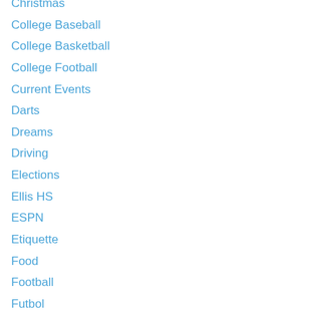Christmas
College Baseball
College Basketball
College Football
Current Events
Darts
Dreams
Driving
Elections
Ellis HS
ESPN
Etiquette
Food
Football
Futbol
Futbol
Game Shows
Golf
Golf
Health